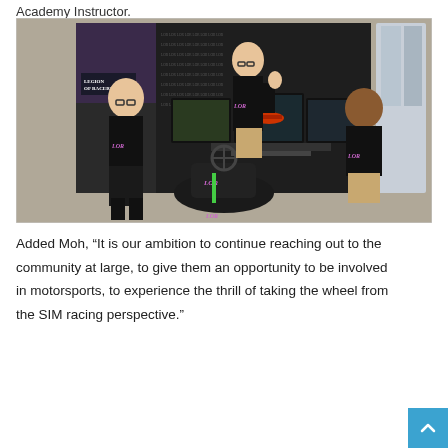Academy Instructor.
[Figure (photo): Three young men wearing black Legion of Racers branded t-shirts posing in front of a sim racing setup with triple monitors showing a racing game. There is a Legion of Racers branded backdrop and logo visible. The men are smiling.]
Added Moh, “It is our ambition to continue reaching out to the community at large, to give them an opportunity to be involved in motorsports, to experience the thrill of taking the wheel from the SIM racing perspective.”